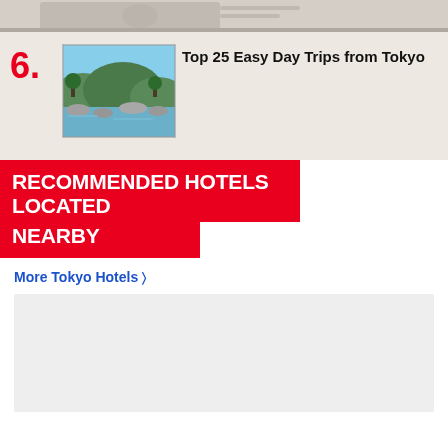[Figure (photo): Partial view of a Japanese yen banknote, cropped at top of page]
6. Top 25 Easy Day Trips from Tokyo
[Figure (photo): Scenic river with rocky shores and green trees, day trip destination near Tokyo]
RECOMMENDED HOTELS LOCATED NEARBY
More Tokyo Hotels >
[Figure (other): Hotel listing placeholder/advertisement block]